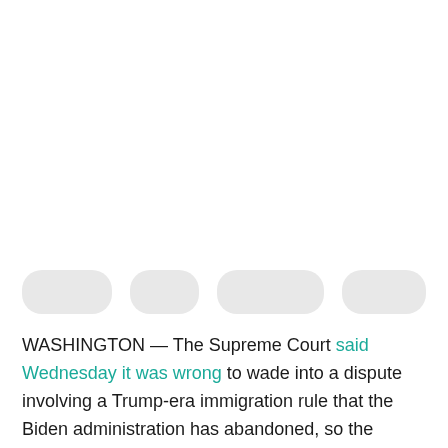[Figure (other): Placeholder image area at top of page, blank white space]
[Figure (other): Row of four rounded pill-shaped placeholder buttons/tags in light gray]
WASHINGTON — The Supreme Court said Wednesday it was wrong to wade into a dispute involving a Trump-era immigration rule that the Biden administration has abandoned, so the justices dismissed the case.
The court had said it would answer the question of whether